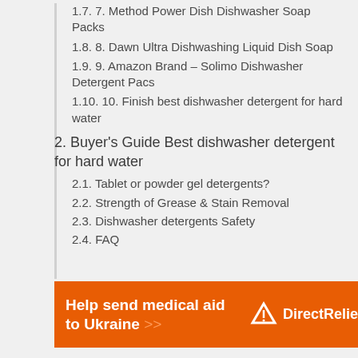1.7. 7. Method Power Dish Dishwasher Soap Packs
1.8. 8. Dawn Ultra Dishwashing Liquid Dish Soap
1.9. 9. Amazon Brand – Solimo Dishwasher Detergent Pacs
1.10. 10. Finish best dishwasher detergent for hard water
2. Buyer's Guide Best dishwasher detergent for hard water
2.1. Tablet or powder gel detergents?
2.2. Strength of Grease & Stain Removal
2.3. Dishwasher detergents Safety
2.4. FAQ
[Figure (infographic): Orange banner advertisement for Direct Relief: 'Help send medical aid to Ukraine >>' with Direct Relief logo]